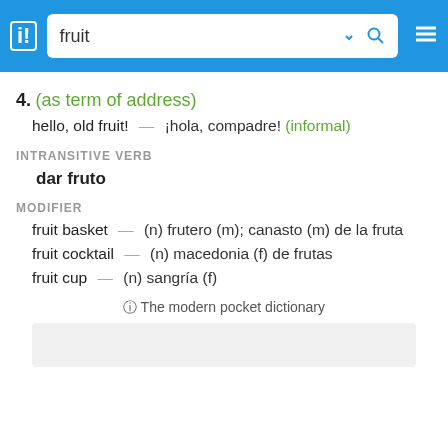fruit
4. (as term of address)
hello, old fruit! — ¡hola, compadre! (informal)
INTRANSITIVE VERB
dar fruto
MODIFIER
fruit basket — (n) frutero (m); canasto (m) de la fruta
fruit cocktail — (n) macedonia (f) de frutas
fruit cup — (n) sangría (f)
ⓘ The modern pocket dictionary